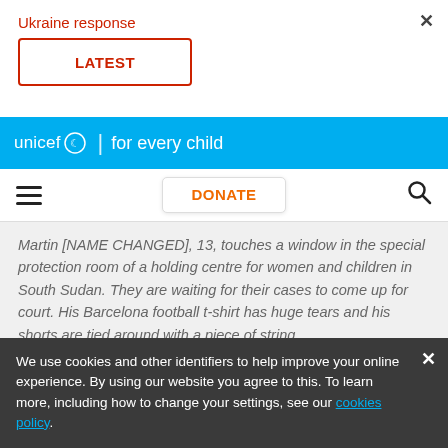Ukraine response
LATEST
unicef for every child
DONATE
Martin [NAME CHANGED], 13, touches a window in the special protection room of a holding centre for women and children in South Sudan. They are waiting for their cases to come up for court. His Barcelona football t-shirt has huge tears and his shorts are tied around with a piece of string.
We use cookies and other identifiers to help improve your online experience. By using our website you agree to this. To learn more, including how to change your settings, see our cookies policy.